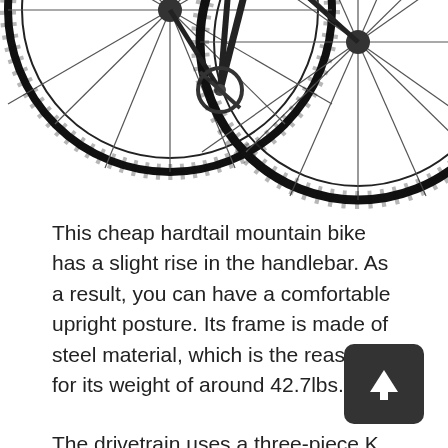[Figure (illustration): Partial view of a black hardtail mountain bike showing the front wheel, rear wheel, frame, handlebars, and drivetrain components against a white background.]
This cheap hardtail mountain bike has a slight rise in the handlebar. As a result, you can have a comfortable upright posture. Its frame is made of steel material, which is the reason for its weight of around 42.7lbs.
The drivetrain uses a three-piece K crankset, indexed SHIMANO TZ-31 rear derailleur, and micro shift twist shifter. These components make the gear-shifting a lot easier. Also, you can easily